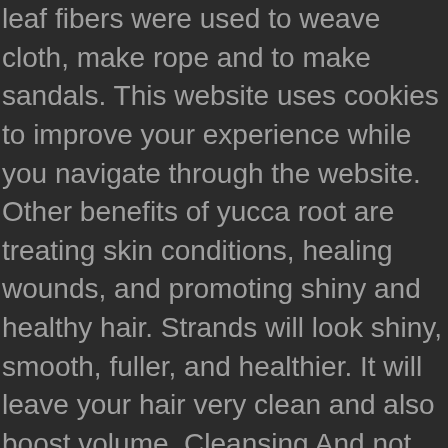leaf fibers were used to weave cloth, make rope and to make sandals. This website uses cookies to improve your experience while you navigate through the website. Other benefits of yucca root are treating skin conditions, healing wounds, and promoting shiny and healthy hair. Strands will look shiny, smooth, fuller, and healthier. It will leave your hair very clean and also boost volume. Cleansing And not only that, they can be great sources of folate, dietary fiber, vitamin C, and potassium. Yucca Root health benefits includes improving digestion, treating constipation, preventing diabetes, curing inflammation, treating ulcers, boosting energy and immunity, curing headaches and relieving stress, relieving joint pains and arthritis, preventing hyperglycemia, reducing cholesterol, supporting cardiovascular health, supporting weight loss, and slowing down aging process. Strengthens Hair Root. However, there are varieties that can be found as far North as Southern Alberta and on the islands of the Carribean. It will leave your hair very clean and also boost volume. The trunks or stems contain saponins that taste like soap and are toxic. The health